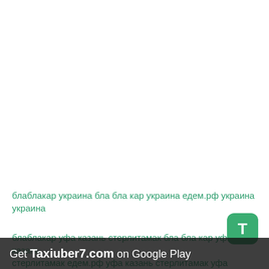блаблакар украина бла бла кар украина едем.рф украина украина
блаблакар уфа казань стерлитамак бла бла кар уфа казань стерлитамак едем.рф уфа казань стерлитамак уфа казань стерлитамак
Get Taxiuber7.com on Google Play